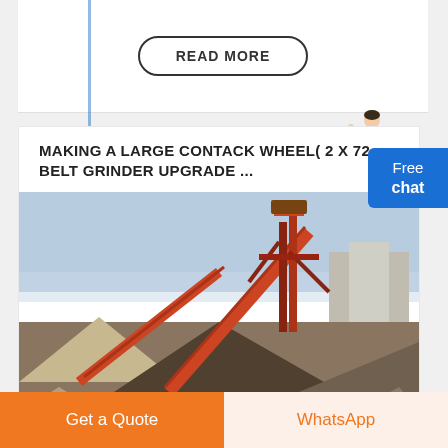READ MORE
MAKING A LARGE CONTACK WHEEL( 2 X 72 BELT GRINDER UPGRADE ...
[Figure (photo): Industrial conveyor belt and aggregate crushing/sorting equipment at a mining or construction site, with large piles of sand and gravel.]
Get a Quote
WhatsApp